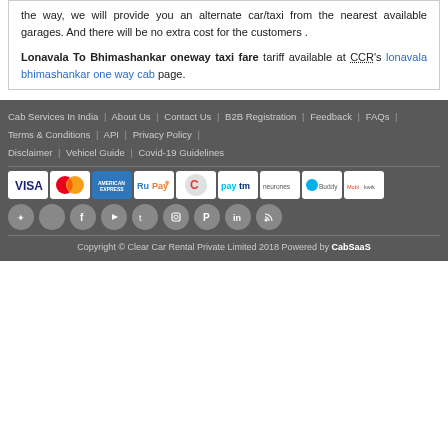the way, we will provide you an alternate car/taxi from the nearest available garages. And there will be no extra cost for the customers .
Lonavala To Bhimashankar oneway taxi fare tariff available at CCR's lonavala bhimashankar one way cab page.
Cab Services In India | About Us | Contact Us | B2B Registration | Feedback | FAQs | Terms & Conditions | API | Privacy Policy | Disclaimer | Vehicel Guide | Covid-19 Guidelines
[Figure (other): Payment method logos: VISA, MasterCard, American Express, RuPay, Powered by Authorize.net, Paytm, Neurones, BuddyD, Mobikwik]
[Figure (other): Social media icons: Android, Apple, Facebook, YouTube, Twitter, Instagram, Pinterest, LinkedIn, RSS]
Copyright © Clear Car Rental Private Limited 2018 Powered by CabSaaS